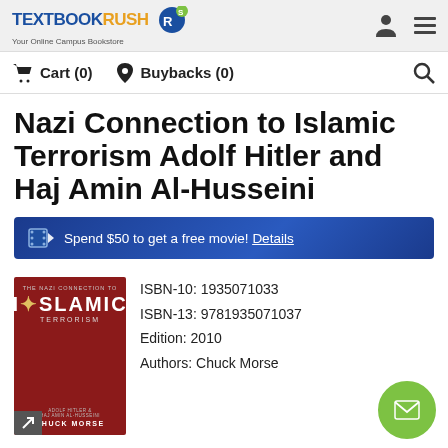TextbookRush - Your Online Campus Bookstore
Cart (0)  Buybacks (0)
Nazi Connection to Islamic Terrorism Adolf Hitler and Haj Amin Al-Husseini
Spend $50 to get a free movie! Details
[Figure (photo): Book cover for 'The Nazi Connection to Islamic Terrorism' by Chuck Morse, red cover with white text]
ISBN-10: 1935071033
ISBN-13: 9781935071037
Edition: 2010
Authors: Chuck Morse